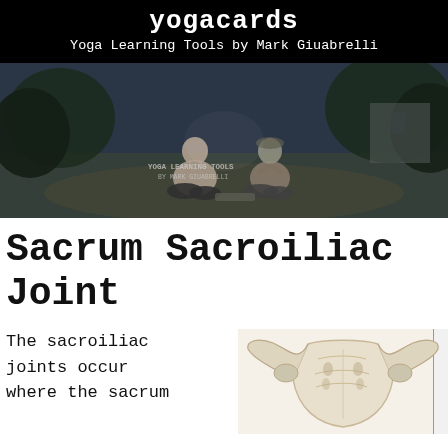yogacards
Yoga Learning Tools by Mark Giuabrelli
[Figure (photo): Black and white photo of two people sitting cross-legged in a yoga meditation pose outdoors, with text overlay reading 'YOGA LEARNING TOOLS BY MARK GIUABRELLI']
Sacrum Sacroiliac Joint
The sacroiliac joints occur where the sacrum
[Figure (photo): Photo of a skeletal sacrum bone model, cream/white colored, showing the sacroiliac joint anatomy]